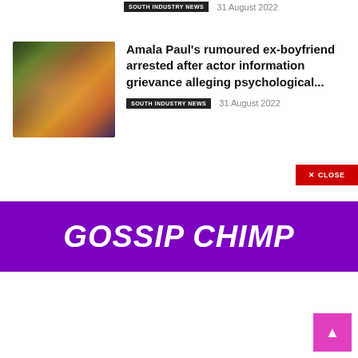SOUTH INDUSTRY NEWS   31 August 2022
[Figure (photo): A smiling woman in traditional Indian attire with a man wearing an orange turban kissing her cheek]
Amala Paul's rumoured ex-boyfriend arrested after actor information grievance alleging psychological...
SOUTH INDUSTRY NEWS   31 August 2022
[Figure (logo): Gossip Chimp purple banner advertisement with white bold italic text reading GOSSIP CHIMP and a red CLOSE button]
[Figure (other): Pink back-to-top arrow button in bottom right corner]